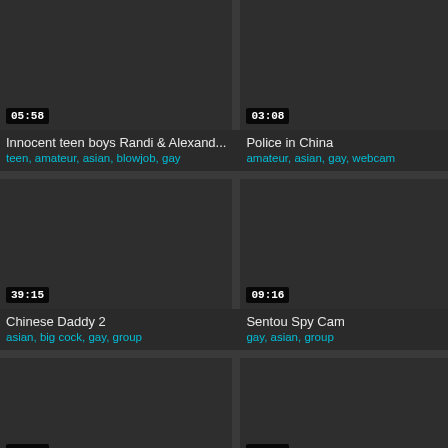[Figure (screenshot): Video thumbnail dark background, duration 05:58]
Innocent teen boys Randi & Alexand...
teen, amateur, asian, blowjob, gay
[Figure (screenshot): Video thumbnail dark background, duration 03:08]
Police in China
amateur, asian, gay, webcam
[Figure (screenshot): Video thumbnail dark background, duration 39:15]
Chinese Daddy 2
asian, big cock, gay, group
[Figure (screenshot): Video thumbnail dark background, duration 09:16]
Sentou Spy Cam
gay, asian, group
[Figure (screenshot): Video thumbnail dark background, duration 16:30]
[Figure (screenshot): Video thumbnail dark background, duration 21:58]